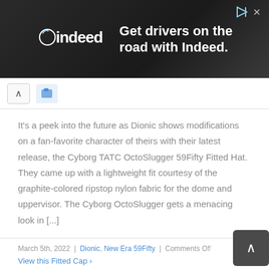[Figure (other): Indeed advertisement banner: dark background with Indeed logo on left and text 'Get drivers on the road with Indeed.' on right, with play and close icons top-right.]
^ [tab icon]
It's a peek into the future as Dionic shows modifications on a fan-favorite character of theirs with their latest release, the Cyborg TATC OctoSlugger 59Fifty Fitted Hat. They came up with a lightweight fit courtesy of the graphite-colored ripstop nylon fabric for the dome and uppervisor. The Cyborg OctoSlugger gets a menacing look in [...]
March 5th, 2022 | Dionic, New Era 59Fifty | Comments Off
View this Fitted Cap >